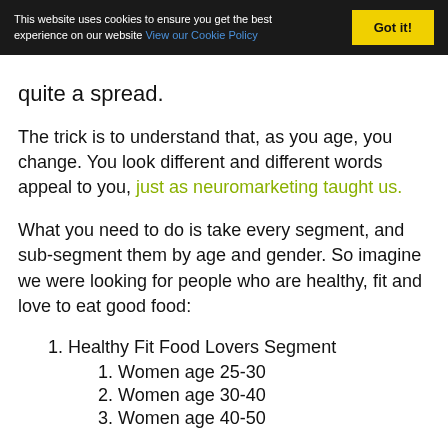This website uses cookies to ensure you get the best experience on our website View our Cookie Policy  Got it!
quite a spread.
The trick is to understand that, as you age, you change. You look different and different words appeal to you, just as neuromarketing taught us.
What you need to do is take every segment, and sub-segment them by age and gender. So imagine we were looking for people who are healthy, fit and love to eat good food:
1. Healthy Fit Food Lovers Segment
1. Women age 25-30
2. Women age 30-40
3. Women age 40-50